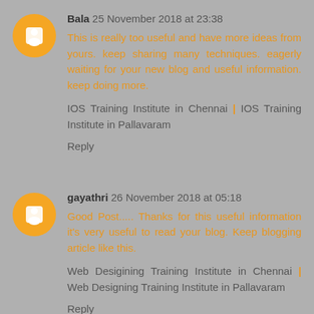Bala 25 November 2018 at 23:38
This is really too useful and have more ideas from yours. keep sharing many techniques. eagerly waiting for your new blog and useful information. keep doing more.
IOS Training Institute in Chennai | IOS Training Institute in Pallavaram
Reply
gayathri 26 November 2018 at 05:18
Good Post..... Thanks for this useful information it's very useful to read your blog. Keep blogging article like this.
Web Desigining Training Institute in Chennai | Web Designing Training Institute in Pallavaram
Reply